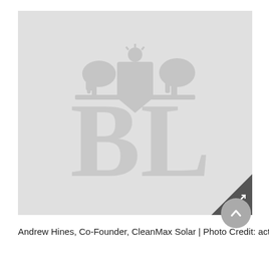[Figure (photo): Placeholder image showing the Business Line (BL) logo with a royal crest above bold letters 'BL' on a light gray background. A triangular expand button is in the bottom-right corner.]
Andrew Hines, Co-Founder, CleanMax Solar | Photo Credit: actionman arjun